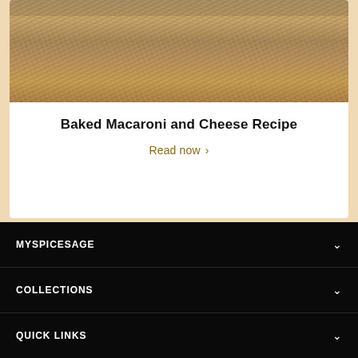[Figure (photo): Baked macaroni and cheese in a glass baking dish, with a browned shredded cheese topping visible from above]
Baked Macaroni and Cheese Recipe
Read now >
MYSPICESAGE
COLLECTIONS
QUICK LINKS